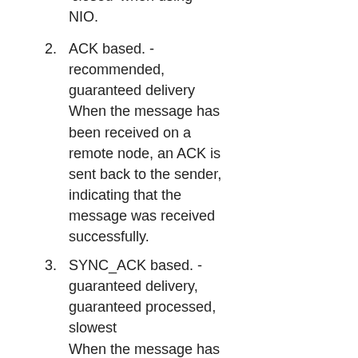'closed' when using NIO.
ACK based. - recommended, guaranteed delivery When the message has been received on a remote node, an ACK is sent back to the sender, indicating that the message was received successfully.
SYNC_ACK based. - guaranteed delivery, guaranteed processed, slowest When the message has been received on a remote node, the node will process the message and if the message was processed successfully, an ACK is sent back to the sender indicating